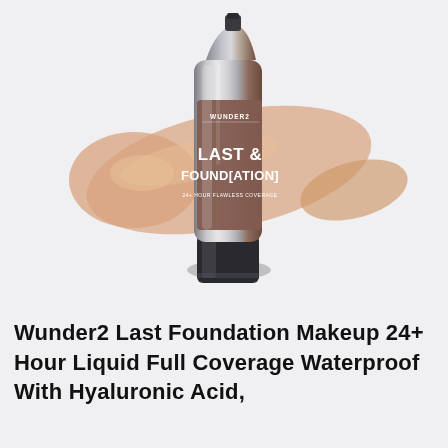[Figure (photo): Product photo of Wunder2 Last & Found[ation] 24+ Hour Flawless Coverage foundation tube in a silver/chrome metallic packaging with a dark cap, displayed with a beige/tan foundation swatch smear in the background.]
Wunder2 Last Foundation Makeup 24+ Hour Liquid Full Coverage Waterproof With Hyaluronic Acid,